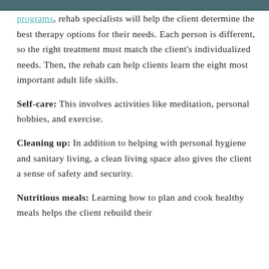programs, rehab specialists will help the client determine the best therapy options for their needs. Each person is different, so the right treatment must match the client's individualized needs. Then, the rehab can help clients learn the eight most important adult life skills.
Self-care: This involves activities like meditation, personal hobbies, and exercise.
Cleaning up: In addition to helping with personal hygiene and sanitary living, a clean living space also gives the client a sense of safety and security.
Nutritious meals: Learning how to plan and cook healthy meals helps the client rebuild their...